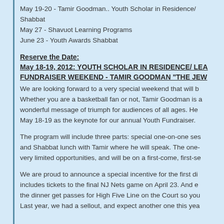May 19-20 - Tamir Goodman.. Youth Scholar in Residence/ Shabbat
May 27 - Shavuot Learning Programs
June 23 - Youth Awards Shabbat
Reserve the Date:
May 18-19, 2012: YOUTH SCHOLAR IN RESIDENCE/ LEADERSHIP FUNDRAISER WEEKEND - TAMIR GOODMAN "THE JEW..."
We are looking forward to a very special weekend that will b... Whether you are a basketball fan or not, Tamir Goodman is a wonderful message of triumph for audiences of all ages. He ... May 18-19 as the keynote for our annual Youth Fundraiser.
The program will include three parts: special one-on-one ses... and Shabbat lunch with Tamir where he will speak. The one-... very limited opportunities, and will be on a first-come, first-se...
We are proud to announce a special incentive for the first di... includes tickets to the final NJ Nets game on April 23. And e... the dinner get passes for High Five Line on the Court so you... Last year, we had a sellout, and expect another one this yea...